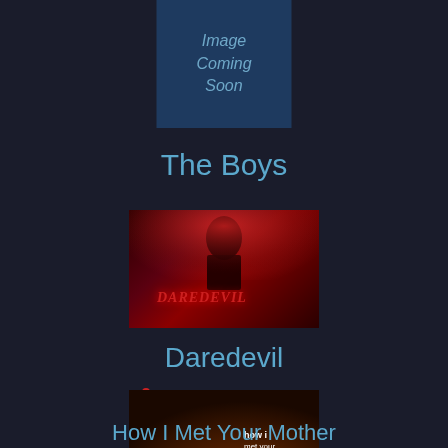[Figure (illustration): Dark blue placeholder box with italic text 'Image Coming Soon']
The Boys
[Figure (photo): Dark red-toned image showing a figure from behind with the Daredevil logo text in red illuminated in front]
Daredevil
[Figure (photo): Dark warm-toned image showing group of people with 'how i met your mother' text logo in white]
How I Met Your Mother